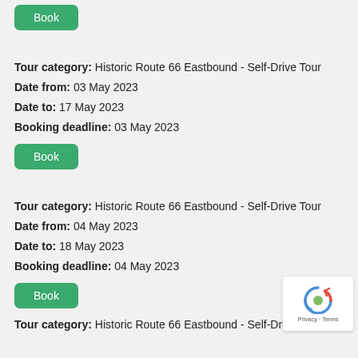[Figure (other): Green Book button at top of page]
Tour category: Historic Route 66 Eastbound - Self-Drive Tour
Date from: 03 May 2023
Date to: 17 May 2023
Booking deadline: 03 May 2023
[Figure (other): Green Book button]
Tour category: Historic Route 66 Eastbound - Self-Drive Tour
Date from: 04 May 2023
Date to: 18 May 2023
Booking deadline: 04 May 2023
[Figure (other): Green Book button]
Tour category: Historic Route 66 Eastbound - Self-Drive Tour